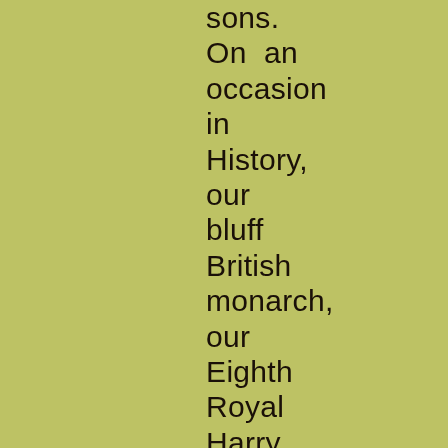sons. On an occasion in History, our bluff British monarch, our Eighth Royal Harry, almost went there. And long ere